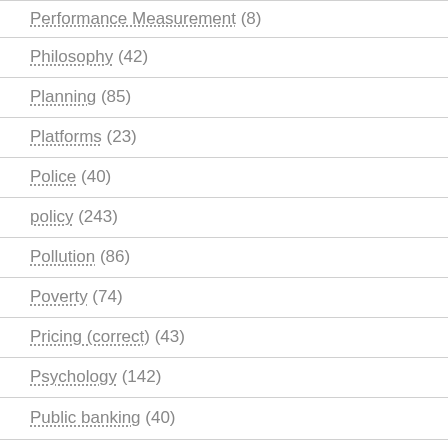Performance Measurement (8)
Philosophy (42)
Planning (85)
Platforms (23)
Police (40)
policy (243)
Pollution (86)
Poverty (74)
Pricing (correct) (43)
Psychology (142)
Public banking (40)
Public ownership (77)